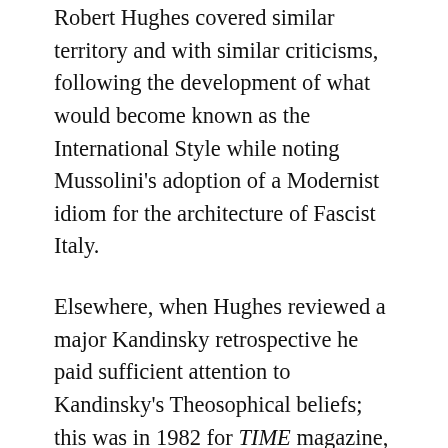Robert Hughes covered similar territory and with similar criticisms, following the development of what would become known as the International Style while noting Mussolini's adoption of a Modernist idiom for the architecture of Fascist Italy.
Elsewhere, when Hughes reviewed a major Kandinsky retrospective he paid sufficient attention to Kandinsky's Theosophical beliefs; this was in 1982 for TIME magazine, not exactly an obscure publication. Theosophy's ectoplasmic tentacles are all over the art of the late 19th century so you'd expect some crossover into the art of the new century, as there was in the careers of the artists themselves. (Matisse was a pupil of Gustave